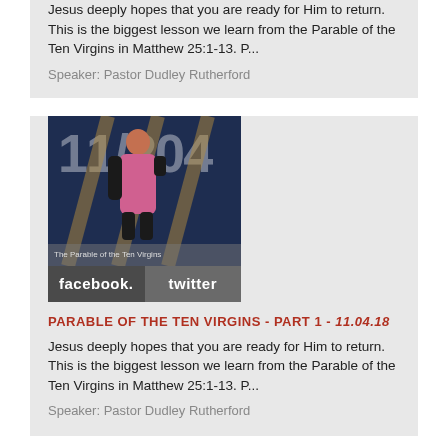Jesus deeply hopes that you are ready for Him to return. This is the biggest lesson we learn from the Parable of the Ten Virgins in Matthew 25:1-13. P...
Speaker: Pastor Dudley Rutherford
[Figure (photo): Video thumbnail showing a person in a pink shirt with large white text '11/204' overlay on a dark blue background with diagonal lines, plus a social bar with facebook and twitter buttons]
PARABLE OF THE TEN VIRGINS - PART 1 - 11.04.18
Jesus deeply hopes that you are ready for Him to return. This is the biggest lesson we learn from the Parable of the Ten Virgins in Matthew 25:1-13. P...
Speaker: Pastor Dudley Rutherford
[Figure (photo): Partially visible card at bottom with a red/dark image thumbnail]